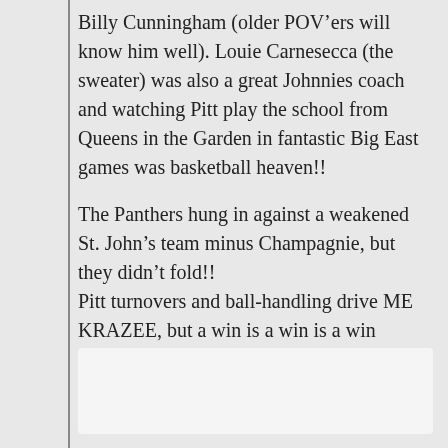Billy Cunningham (older POV'ers will know him well). Louie Carnesecca (the sweater) was also a great Johnnies coach and watching Pitt play the school from Queens in the Garden in fantastic Big East games was basketball heaven!!
The Panthers hung in against a weakened St. John's team minus Champagnie, but they didn't fold!! Pitt turnovers and ball-handling drive ME KRAZEE, but a win is a win is a win especially when it happens in the GREAT Madison Square Garden.....boy oh boy do I miss the Big East!
[Figure (other): White/light gray rectangular box, likely a placeholder for an image or embedded content]